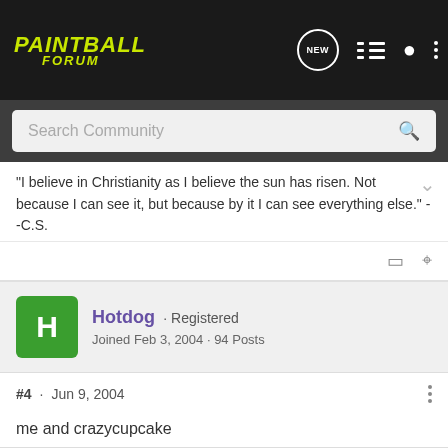PAINTBALL FORUM
Search Community
"I believe in Christianity as I believe the sun has risen. Not because I can see it, but because by it I can see everything else." --C.S.
Hotdog · Registered
Joined Feb 3, 2004 · 94 Posts
#4 · Jun 9, 2004
me and crazycupcake